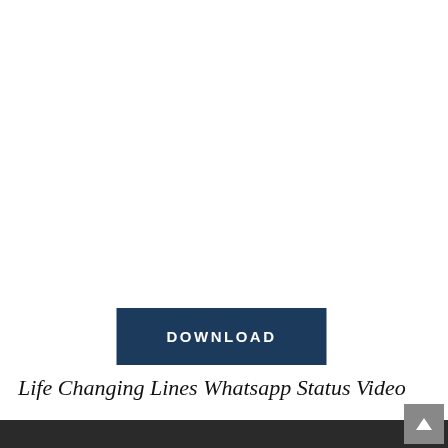[Figure (other): Download button — dark navy rectangle with white bold uppercase text 'DOWNLOAD' centered inside]
Life Changing Lines Whatsapp Status Video
[Figure (other): Dark gray/black horizontal bar at the bottom of the page with a scroll-to-top arrow button in the bottom-right corner]